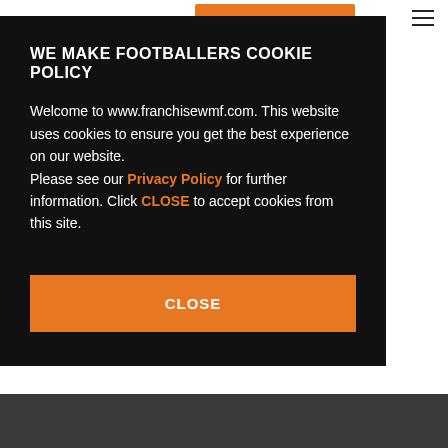[Figure (other): Orange navigation button in top nav bar]
[Figure (other): Hamburger menu icon (three horizontal lines) in top right corner]
WE MAKE FOOTBALLERS COOKIE POLICY
Welcome to www.franchisewmf.com. This website uses cookies to ensure you get the best experience on our website. Please see our Privacy Policy for further information. Click CLOSE to accept cookies from this site.
CLOSE